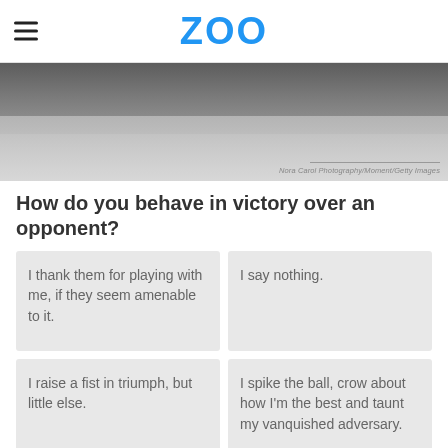ZOO
[Figure (photo): Blurred overhead photo of a chess board with chess pieces, gray tones. Photo credit: Nora Carol Photography/Moment/Getty Images]
How do you behave in victory over an opponent?
I thank them for playing with me, if they seem amenable to it.
I say nothing.
I raise a fist in triumph, but little else.
I spike the ball, crow about how I'm the best and taunt my vanquished adversary.
Advertisement